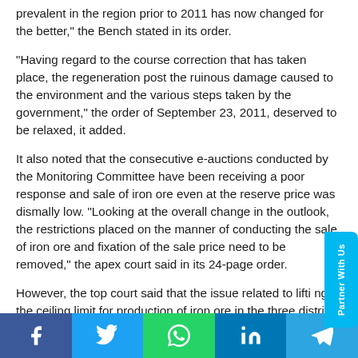prevalent in the region prior to 2011 has now changed for the better," the Bench stated in its order.
"Having regard to the course correction that has taken place, the regeneration post the ruinous damage caused to the environment and the various steps taken by the government," the order of September 23, 2011, deserved to be relaxed, it added.
It also noted that the consecutive e-auctions conducted by the Monitoring Committee have been receiving a poor response and sale of iron ore even at the reserve price was dismally low. "Looking at the overall change in the outlook, the restrictions placed on the manner of conducting the sale of iron ore and fixation of the sale price need to be removed," the apex court said in its 24-page order.
However, the top court said that the issue related to lifting of the ceiling limit for production of iron ore in the three districts will be decided in July after getting an opinion from the newly-appointed Oversight Authority, which ha...